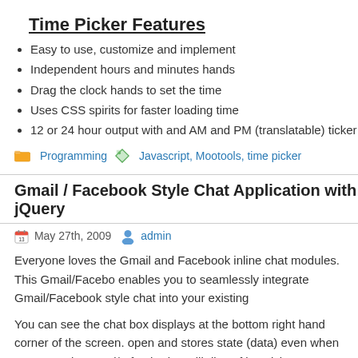Time Picker Features
Easy to use, customize and implement
Independent hours and minutes hands
Drag the clock hands to set the time
Uses CSS spirits for faster loading time
12 or 24 hour output with and AM and PM (translatable) ticker
Programming   Javascript, Mootools, time picker
Gmail / Facebook Style Chat Application with jQuery
May 27th, 2009   admin
Everyone loves the Gmail and Facebook inline chat modules. This Gmail/Facebo enables you to seamlessly integrate Gmail/Facebook style chat into your existing
You can see the chat box displays at the bottom right hand corner of the screen. open and stores state (data) even when pages are browsed/refreshed. It will disp of inactivity. You can also minimize and close chat boxes easily.